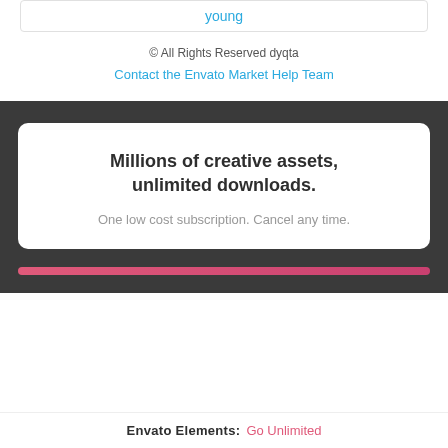young
© All Rights Reserved dyqta
Contact the Envato Market Help Team
Millions of creative assets, unlimited downloads.
One low cost subscription. Cancel any time.
Envato Elements: Go Unlimited